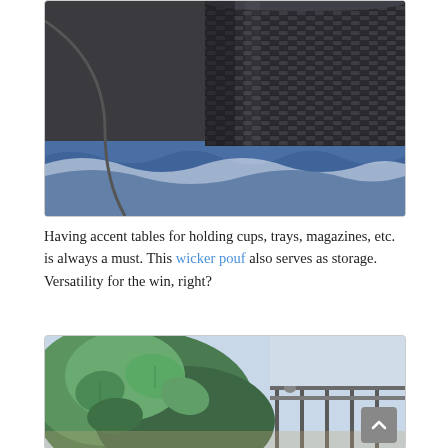[Figure (photo): Close-up photo of a dark charcoal/black wicker pouf sitting on a blue and white patterned outdoor rug. The wicker weave texture is clearly visible.]
Having accent tables for holding cups, trays, magazines, etc. is always a must. This wicker pouf also serves as storage. Versatility for the win, right?
[Figure (photo): Photo of green leafy plants on a porch/balcony with metal railing visible in the background.]